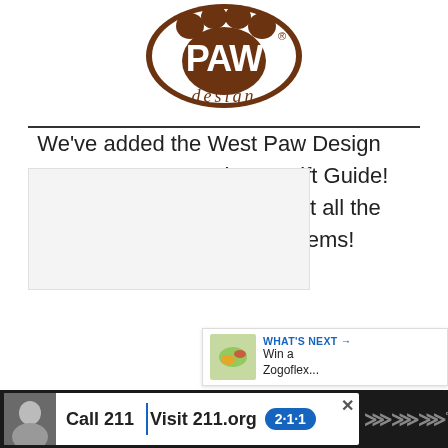[Figure (logo): West Paw Design logo — brown paw print with 'PAW' text and 'design' written below in brown cursive/script with registered trademark symbol]
We've added the West Paw Design QWIZL to our Petpalooza Gift Guide! Head on over and check out all the PAWSOME pet friendly items!
[Figure (infographic): Blue heart like button showing 335 likes, and a share button below it]
[Figure (infographic): What's Next panel: thumbnail image of colorful dog toy, label 'WHAT'S NEXT' with arrow, text 'Win a Zogoflex...']
[Figure (screenshot): Bottom advertisement bar: dark background with white ad box showing a man's photo, text 'Call 211 | Visit 211.org' with blue 2·1·1 badge logo]